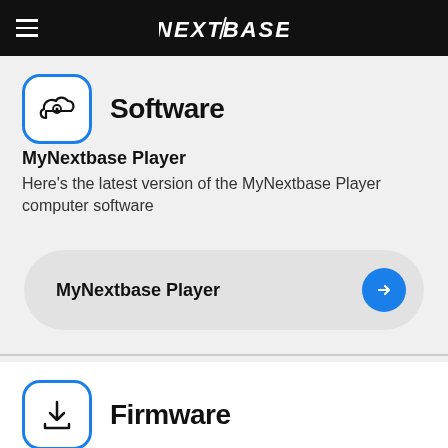NEXTBASE
Software
MyNextbase Player
Here's the latest version of the MyNextbase Player computer software
MyNextbase Player
Firmware